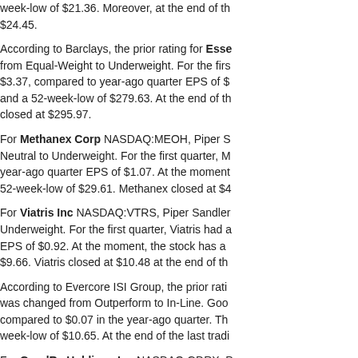week-low of $21.36. Moreover, at the end of the trading period, the stock closed at $24.45.
According to Barclays, the prior rating for Essex Property Trust Inc was changed from Equal-Weight to Underweight. For the first quarter, Essex Property Trust had EPS of $3.37, compared to year-ago quarter EPS of $... and a 52-week-low of $279.63. At the end of the trading period, Essex Property Trust closed at $295.97.
For Methanex Corp NASDAQ:MEOH, Piper Sandler changed the rating from Neutral to Underweight. For the first quarter, Methanex had EPS compared to year-ago quarter EPS of $1.07. At the moment, the stock has a 52-week-low of $29.61. Methanex closed at $4...
For Viatris Inc NASDAQ:VTRS, Piper Sandler changed the rating to Underweight. For the first quarter, Viatris had a year-ago quarter EPS of $0.92. At the moment, the stock has a 52-week-low of $9.66. Viatris closed at $10.48 at the end of the trading period.
According to Evercore ISI Group, the prior rating was changed from Outperform to In-Line. GoodRx Holdings had EPS compared to $0.07 in the year-ago quarter. The stock has a 52-week-low of $10.65. At the end of the last trading period...
For GoodRx Holdings Inc NASDAQ:GDRX, the rating was changed from Outperform to Market Perform. For the first quarter, GoodRx had EPS compared to year-ago quarter EPS of $0.07. At the moment, the stock has a 52-week-high of $48.05 and a 52-week-low of $10.65. GoodRx closed at the end of the last trading period.